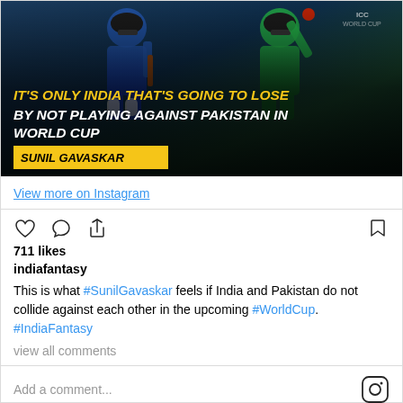[Figure (photo): Instagram post image showing cricket players with a dark overlay containing a quote: 'IT'S ONLY INDIA THAT'S GOING TO LOSE BY NOT PLAYING AGAINST PAKISTAN IN WORLD CUP' attributed to SUNIL GAVASKAR in yellow text on dark background]
View more on Instagram
711 likes
indiafantasy
This is what #SunilGavaskar feels if India and Pakistan do not collide against each other in the upcoming #WorldCup. #IndiaFantasy
view all comments
Add a comment...